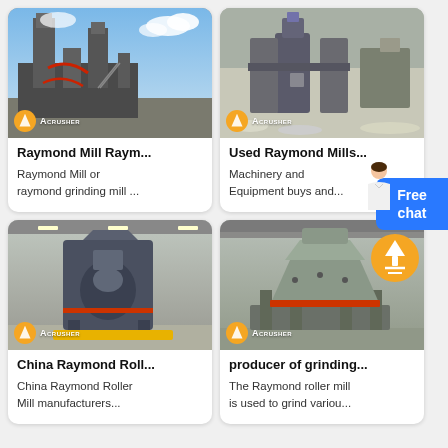[Figure (photo): Industrial Raymond Mill machinery at a processing site, with construction equipment and blue sky. Acrusher logo visible at bottom left.]
Raymond Mill Raym...
Raymond Mill or raymond grinding mill ...
[Figure (photo): Used Raymond Mills industrial machinery inside a factory. Acrusher logo visible. Free chat button and avatar visible.]
Used Raymond Mills...
Machinery and Equipment buys and...
[Figure (photo): China Raymond Roller Mill machinery in an industrial warehouse. Acrusher logo at bottom left.]
China Raymond Roll...
China Raymond Roller Mill manufacturers...
[Figure (photo): Producer of grinding equipment — cone crusher in a factory, with scroll-to-top orange circle button and Acrusher logo.]
producer of grinding...
The Raymond roller mill is used to grind variou...